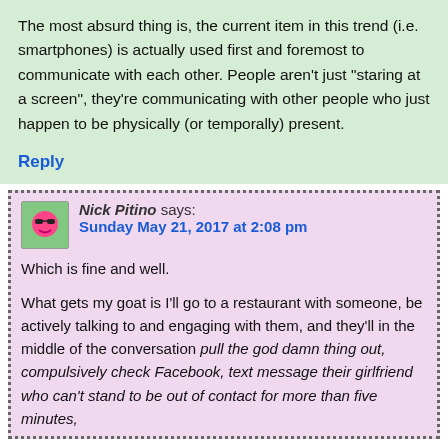The most absurd thing is, the current item in this trend (i.e. smartphones) is actually used first and foremost to communicate with each other. People aren't just "staring at a screen", they're communicating with other people who just happen to be physically (or temporally) present.
Reply
Nick Pitino says: Sunday May 21, 2017 at 2:08 pm
Which is fine and well.
What gets my goat is I'll go to a restaurant with someone, be actively talking to and engaging with them, and they'll in the middle of the conversation pull the god damn thing out, compulsively check Facebook, text message their girlfriend who can't stand to be out of contact for more than five minutes,